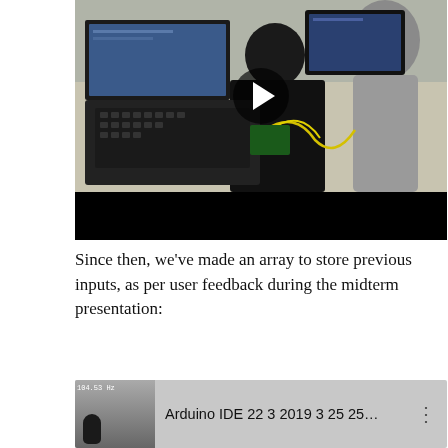[Figure (screenshot): A video player screenshot showing two people at a laptop computer working with electronics/Arduino hardware. A large play button is overlaid in the center. The bottom portion of the player shows a black controls bar.]
Since then, we've made an array to store previous inputs, as per user feedback during the midterm presentation:
[Figure (screenshot): A YouTube video thumbnail showing 'Arduino IDE 22 3 2019 3 25 25...' with a frequency readout '104.53 Hz' visible and a small figure thumbnail on the left side.]